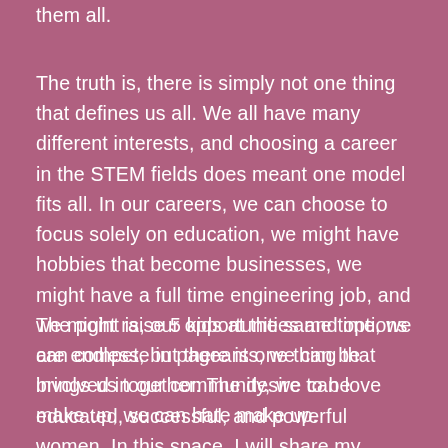them all.
The truth is, there is simply not one thing that defines us all. We all have many different interests, and choosing a career in the STEM fields does meant one model fits all. In our careers, we can choose to focus solely on education, we might have hobbies that become businesses, we might have a full time engineering job, and we might raise 5 kids at the same time, we can compete in pageants, we can be involved in our community, we can love make up, we can hate make up.
The point is, our opportunities and options are endless, but there is one thing that brings us together: The desire to be educated, successful, and powerful women. In this space, I will share my journey into